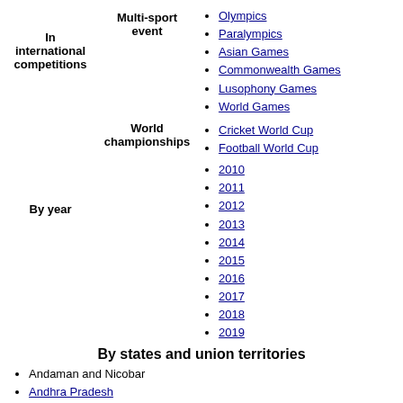In international competitions
Multi-sport event
Olympics
Paralympics
Asian Games
Commonwealth Games
Lusophony Games
World Games
World championships
Cricket World Cup
Football World Cup
By year
2010
2011
2012
2013
2014
2015
2016
2017
2018
2019
By states and union territories
Andaman and Nicobar
Andhra Pradesh